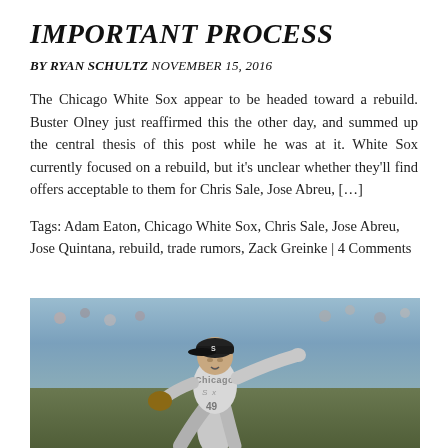IMPORTANT PROCESS
BY RYAN SCHULTZ NOVEMBER 15, 2016
The Chicago White Sox appear to be headed toward a rebuild. Buster Olney just reaffirmed this the other day, and summed up the central thesis of this post while he was at it. White Sox currently focused on a rebuild, but it’s unclear whether they’ll find offers acceptable to them for Chris Sale, Jose Abreu, […]
Tags: Adam Eaton, Chicago White Sox, Chris Sale, Jose Abreu, Jose Quintana, rebuild, trade rumors, Zack Greinke | 4 Comments
[Figure (photo): Baseball pitcher wearing Chicago White Sox jersey number 49 in pitching stance]